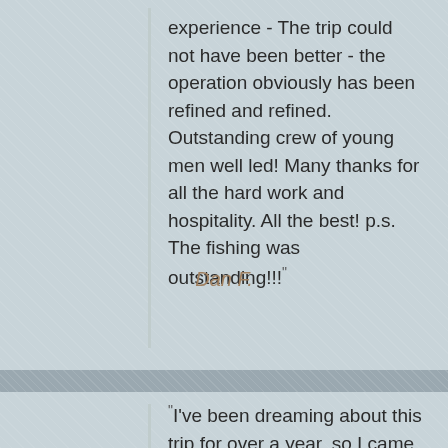experience - The trip could not have been better - the operation obviously has been refined and refined. Outstanding crew of young men well led! Many thanks for all the hard work and hospitality. All the best! p.s. The fishing was outstanding!!!”
Dan F.
“I’ve been dreaming about this trip for over a year, so I came with high